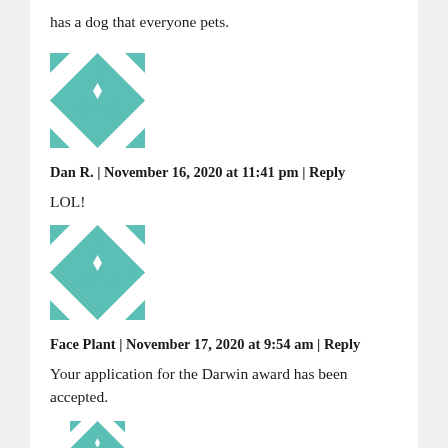has a dog that everyone pets.
[Figure (illustration): Teal and white geometric avatar icon with star/quilt pattern]
Dan R. | November 16, 2020 at 11:41 pm | Reply
LOL!
[Figure (illustration): Teal and white geometric avatar icon with star/quilt pattern]
Face Plant | November 17, 2020 at 9:54 am | Reply
Your application for the Darwin award has been accepted.
[Figure (illustration): Teal and white geometric avatar icon with star/quilt pattern (partially visible)]